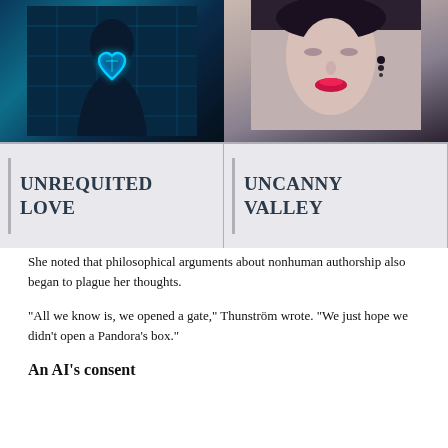[Figure (illustration): Two side-by-side images: left shows a dark silhouette of a person with a glowing blue digital heart against a circuit-board background; right shows a close-up of a woman's face with red lips against a dark background, suggestive of an AI or robot.]
UNREQUITED LOVE
UNCANNY VALLEY
She noted that philosophical arguments about nonhuman authorship also began to plague her thoughts.
“All we know is, we opened a gate,” Thunström wrote. “We just hope we didn’t open a Pandora’s box.”
An AI’s consent